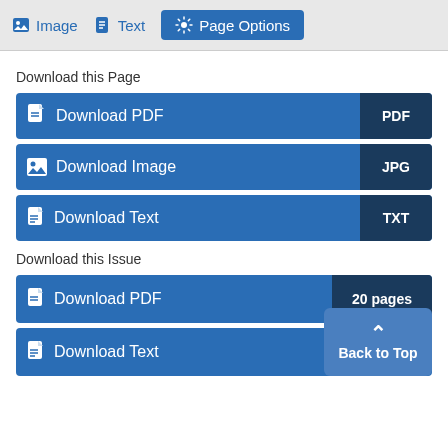Image  Text  Page Options
Download this Page
Download PDF  PDF
Download Image  JPG
Download Text  TXT
Download this Issue
Download PDF  20 pages
Download Text
Back to Top